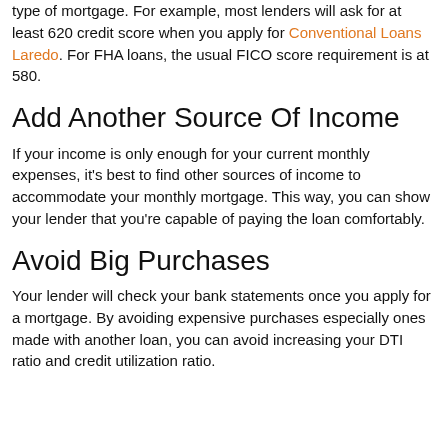type of mortgage. For example, most lenders will ask for at least 620 credit score when you apply for Conventional Loans Laredo. For FHA loans, the usual FICO score requirement is at 580.
Add Another Source Of Income
If your income is only enough for your current monthly expenses, it's best to find other sources of income to accommodate your monthly mortgage. This way, you can show your lender that you're capable of paying the loan comfortably.
Avoid Big Purchases
Your lender will check your bank statements once you apply for a mortgage. By avoiding expensive purchases especially ones made with another loan, you can avoid increasing your DTI ratio and credit utilization ratio.